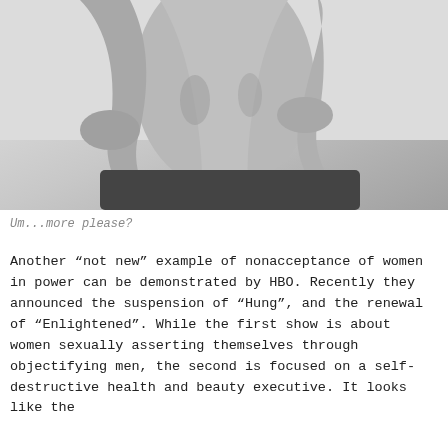[Figure (photo): Black and white close-up photograph of a person's torso and arms, showing the midsection and elbows, with the person leaning forward. High contrast monochrome image.]
Um...more please?
Another “not new” example of nonacceptance of women in power can be demonstrated by HBO. Recently they announced the suspension of “Hung”, and the renewal of “Enlightened”. While the first show is about women sexually asserting themselves through objectifying men, the second is focused on a self-destructive health and beauty executive. It looks like the